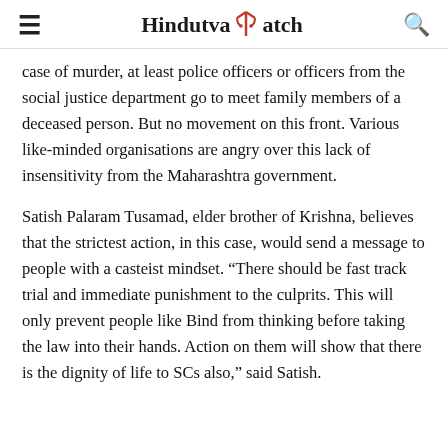Hindutva Watch
case of murder, at least police officers or officers from the social justice department go to meet family members of a deceased person. But no movement on this front. Various like-minded organisations are angry over this lack of insensitivity from the Maharashtra government.
Satish Palaram Tusamad, elder brother of Krishna, believes that the strictest action, in this case, would send a message to people with a casteist mindset. “There should be fast track trial and immediate punishment to the culprits. This will only prevent people like Bind from thinking before taking the law into their hands. Action on them will show that there is the dignity of life to SCs also,” said Satish.